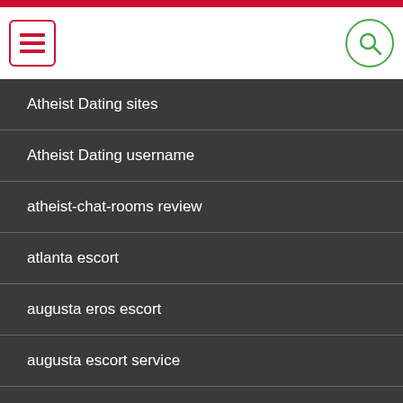Navigation menu and search bar
Atheist Dating sites
Atheist Dating username
atheist-chat-rooms review
atlanta escort
augusta eros escort
augusta escort service
aurora-1 escort porn
aurora-1 what is an escort
austin eros escort
austin escort
austin escort ads
australia-bbw-dating reviews
australia-cougar-dating dating